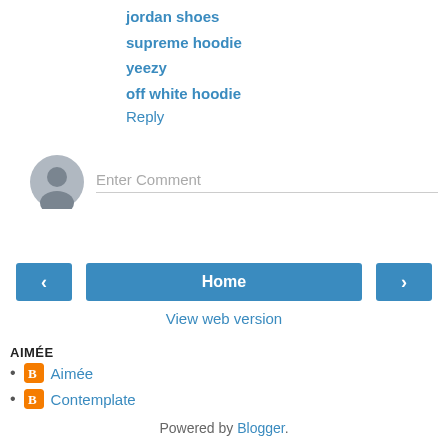jordan shoes
supreme hoodie
yeezy
off white hoodie
Reply
[Figure (other): Comment input field with avatar placeholder and 'Enter Comment' placeholder text]
[Figure (other): Navigation bar with left arrow button, Home button, and right arrow button]
View web version
AIMÉE
Aimée
Contemplate
Powered by Blogger.